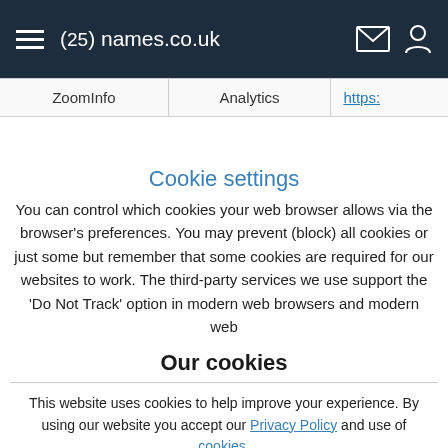(25) names.co.uk
| ZoomInfo | Analytics | https:... |
| --- | --- | --- |
| ZoomInfo | Analytics | https: |
Cookie settings
You can control which cookies your web browser allows via the browser's preferences. You may prevent (block) all cookies or just some but remember that some cookies are required for our websites to work. The third-party services we use support the 'Do Not Track' option in modern web browsers and modern web
Our cookies
This website uses cookies to help improve your experience. By using our website you accept our Privacy Policy and use of cookies.